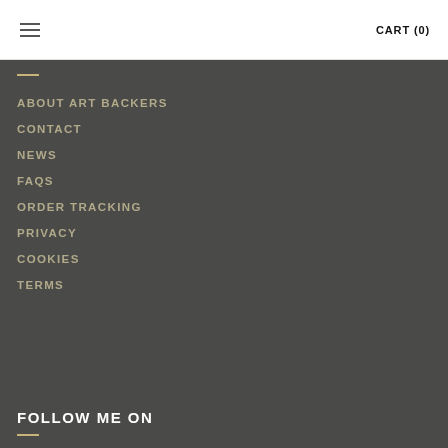CART (0)
ABOUT ART BACKERS
CONTACT
NEWS
FAQS
ORDER TRACKING
PRIVACY
COOKIES
TERMS
FOLLOW ME ON